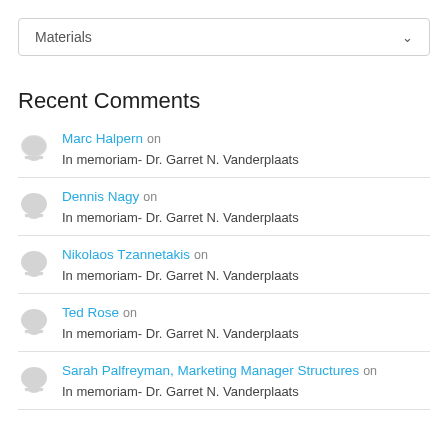[Figure (other): Materials dropdown selector with chevron icon]
Recent Comments
Marc Halpern on In memoriam- Dr. Garret N. Vanderplaats
Dennis Nagy on In memoriam- Dr. Garret N. Vanderplaats
Nikolaos Tzannetakis on In memoriam- Dr. Garret N. Vanderplaats
Ted Rose on In memoriam- Dr. Garret N. Vanderplaats
Sarah Palfreyman, Marketing Manager Structures on In memoriam- Dr. Garret N. Vanderplaats